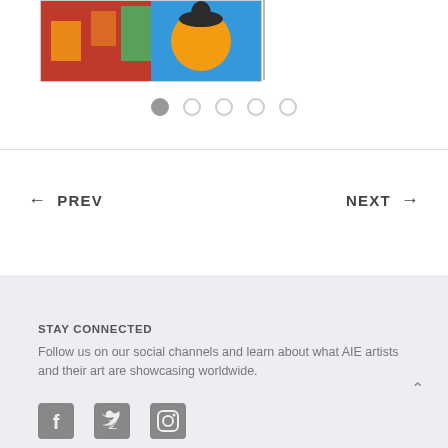[Figure (photo): Partial view of a colorful painting showing art with red, blue, orange, green and a figure with a black hat, cropped at top of page]
[Figure (other): Carousel navigation dots: 5 dots, first one filled/active, rest are outlined/inactive]
← PREV
NEXT →
STAY CONNECTED
Follow us on our social channels and learn about what AIE artists and their art are showcasing worldwide.
[Figure (other): Social media icons: Facebook, Twitter, Instagram]